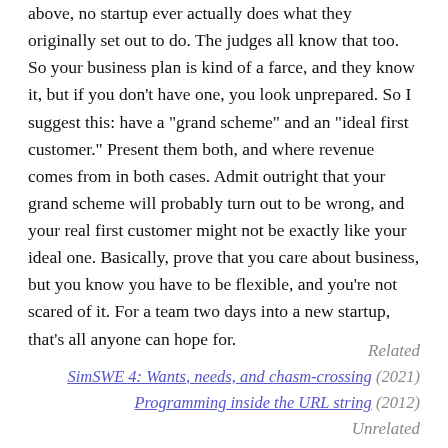above, no startup ever actually does what they originally set out to do. The judges all know that too. So your business plan is kind of a farce, and they know it, but if you don't have one, you look unprepared. So I suggest this: have a "grand scheme" and an "ideal first customer." Present them both, and where revenue comes from in both cases. Admit outright that your grand scheme will probably turn out to be wrong, and your real first customer might not be exactly like your ideal one. Basically, prove that you care about business, but you know you have to be flexible, and you're not scared of it. For a team two days into a new startup, that's all anyone can hope for.
Related
SimSWE 4: Wants, needs, and chasm-crossing (2021)
Programming inside the URL string (2012)
Unrelated
Dear StartupCampMontreal: (2010)